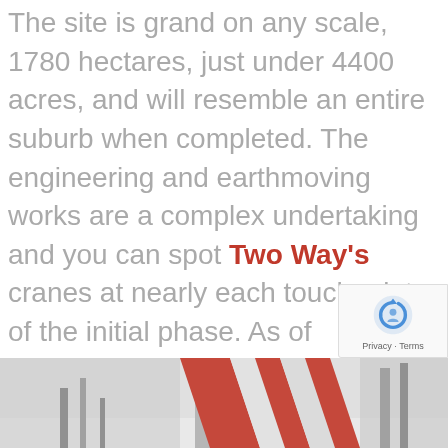The site is grand on any scale, 1780 hectares, just under 4400 acres, and will resemble an entire suburb when completed. The engineering and earthmoving works are a complex undertaking and you can spot Two Way's cranes at nearly each touchpoint of the initial phase. As of November 2021, nearly 20 million cubic metres of earth have already been moved in what some people describe as one of the biggest earthmoving challenges in Australian history. We are very proud to have a significant presence within this project.
[Figure (photo): Bottom strip photo showing construction cranes with red and white markings against a light sky background]